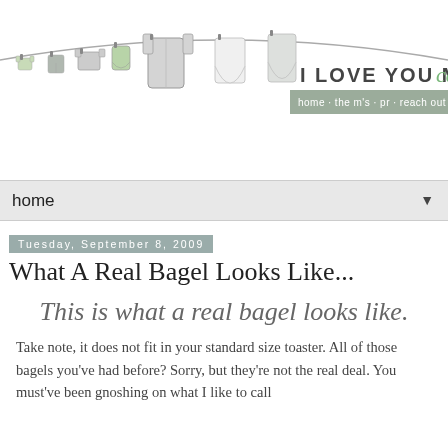[Figure (illustration): Blog header banner showing clothesline with hanging children's clothing items in green and grey tones, with blog title 'I LOVE YOU MORE THAN carrots' in large text and navigation bar with links: home, the m's, pr, reach out, reviews]
home
Tuesday, September 8, 2009
What A Real Bagel Looks Like...
This is what a real bagel looks like.
Take note, it does not fit in your standard size toaster. All of those bagels you've had before? Sorry, but they're not the real deal. You must've been gnoshing on what I like to call